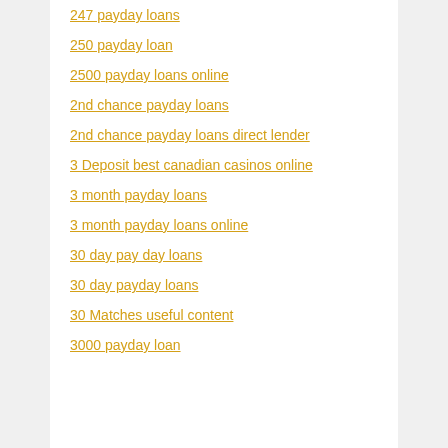247 payday loans
250 payday loan
2500 payday loans online
2nd chance payday loans
2nd chance payday loans direct lender
3 Deposit best canadian casinos online
3 month payday loans
3 month payday loans online
30 day pay day loans
30 day payday loans
30 Matches useful content
3000 payday loan